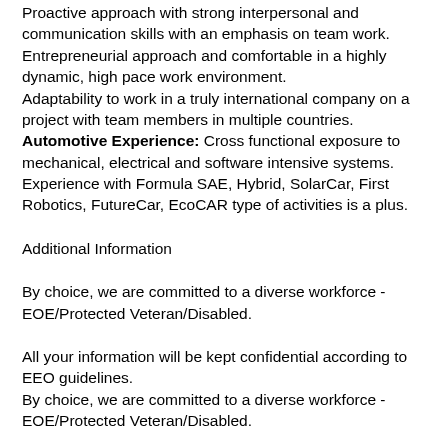Proactive approach with strong interpersonal and communication skills with an emphasis on team work. Entrepreneurial approach and comfortable in a highly dynamic, high pace work environment.
Adaptability to work in a truly international company on a project with team members in multiple countries.
Automotive Experience: Cross functional exposure to mechanical, electrical and software intensive systems. Experience with Formula SAE, Hybrid, SolarCar, First Robotics, FutureCar, EcoCAR type of activities is a plus.
Additional Information
By choice, we are committed to a diverse workforce - EOE/Protected Veteran/Disabled.
All your information will be kept confidential according to EEO guidelines.
By choice, we are committed to a diverse workforce - EOE/Protected Veteran/Disabled.
BOSCH is a proud supporter of STEM (Science, Technology,